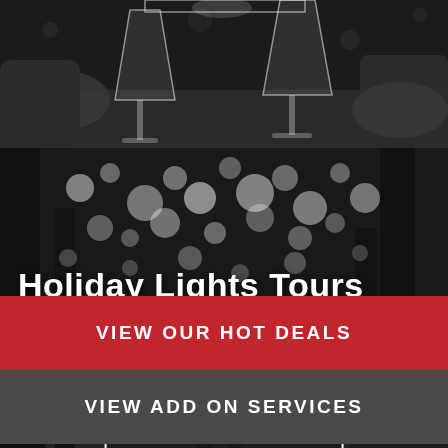[Figure (photo): Black and white photo at top showing hands holding champagne glasses clinking, partially cropped]
[Figure (photo): Black and white photo of a street at night with bokeh string lights in trees, two people walking away down the path, serving as background for Holiday Lights Tours banner]
Holiday Lights Tours
LEARN MORE
VIEW OUR HOT DEALS
VIEW ADD ON SERVICES